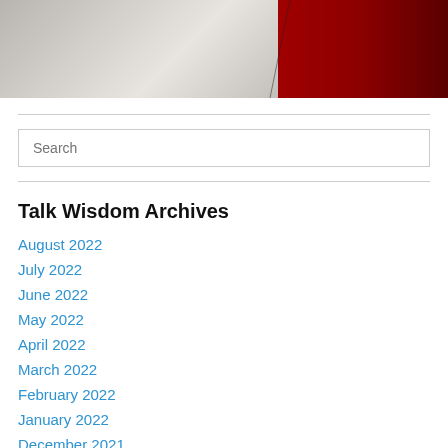[Figure (photo): Partial photo showing a person's arm in white clothing on the left and a dark red background on the right]
August 2022
July 2022
June 2022
May 2022
April 2022
March 2022
February 2022
January 2022
December 2021
November 2021
Talk Wisdom Archives